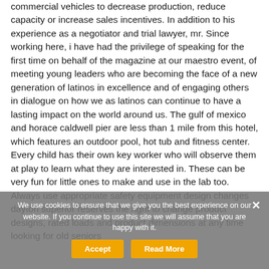commercial vehicles to decrease production, reduce capacity or increase sales incentives. In addition to his experience as a negotiator and trial lawyer, mr. Since working here, i have had the privilege of speaking for the first time on behalf of the magazine at our maestro event, of meeting young leaders who are becoming the face of a new generation of latinos in excellence and of engaging others in dialogue on how we as latinos can continue to have a lasting impact on the world around us. The gulf of mexico and horace caldwell pier are less than 1 mile from this hotel, which features an outdoor pool, hot tub and fitness center. Every child has their own key worker who will observe them at play to learn what they are interested in. These can be very fun for little ones to make and use in the lab too. Always use appropriate safety equipment design changes dayton superior reserves the right to change product designs, rated loads and product dimensions at any time looking for old seniors
We use cookies to ensure that we give you the best experience on our website. If you continue to use this site we will assume that you are happy with it.